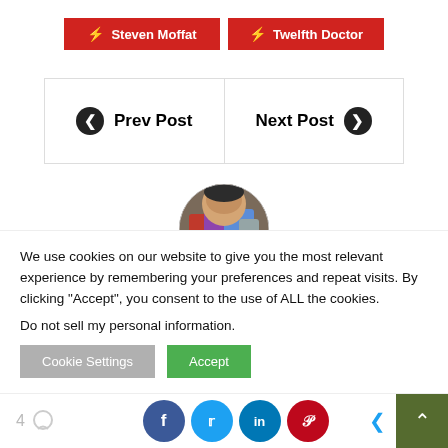⚡ Steven Moffat
⚡ Twelfth Doctor
Prev Post
Next Post
[Figure (photo): Circular avatar photo of a person partially visible, colorful clothing]
We use cookies on our website to give you the most relevant experience by remembering your preferences and repeat visits. By clicking "Accept", you consent to the use of ALL the cookies.
Do not sell my personal information.
4  [comment icon]  [social share icons: Facebook, Twitter, LinkedIn, Pinterest]  [back]  [top]